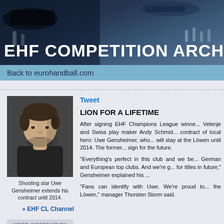[Figure (photo): EHF Competition Archive banner with dark blue background and sports action photos]
EHF COMPETITION ARCHIVE
Back to eurohandball.com
[Figure (photo): Profile photo of Uwe Gensheimer, a young man with dark hair shown in profile]
Shooting star Uwe Gensheimer extends his contract until 2014.
» EHF CL Channel
MORE INFORMATION ON
» 2009-10 Men's News
Tweet
LION FOR A LIFETIME
After signing EHF Champions League winne... Velenje and Swiss play maker Andy Schmid... contract of local hero: Uwe Gensheimer, who... will stay at the Löwen until 2014. The former... sign for the future.
"Everything's perfect in this club and we be... German and European top clubs. And we're g... for titles in future," Gensheimer explained his ...
"Fans can identify with Uwe. We're proud to... the Löwen," manager Thorsten Storm said.